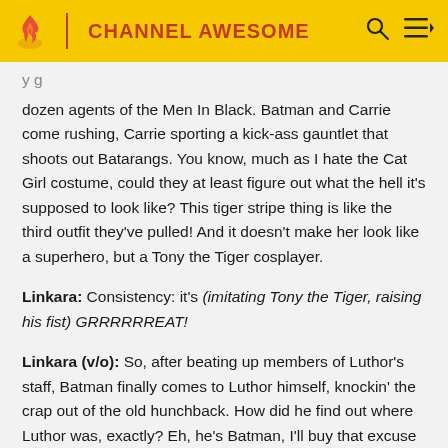CHANNEL AWESOME
dozen agents of the Men In Black. Batman and Carrie come rushing, Carrie sporting a kick-ass gauntlet that shoots out Batarangs. You know, much as I hate the Cat Girl costume, could they at least figure out what the hell it's supposed to look like? This tiger stripe thing is like the third outfit they've pulled! And it doesn't make her look like a superhero, but a Tony the Tiger cosplayer.
Linkara: Consistency: it's (imitating Tony the Tiger, raising his fist) GRRRRRREAT!
Linkara (v/o): So, after beating up members of Luthor's staff, Batman finally comes to Luthor himself, knockin' the crap out of the old hunchback. How did he find out where Luthor was, exactly? Eh, he's Batman, I'll buy that excuse.